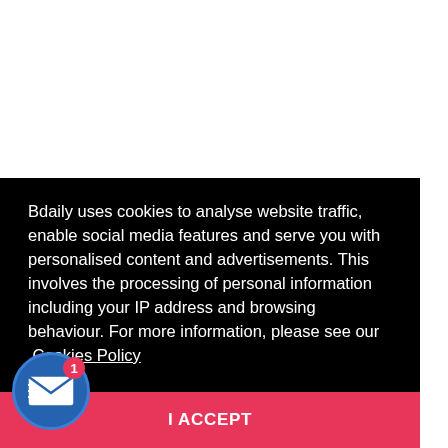Bdaily uses cookies to analyse website traffic, enable social media features and serve you with personalised content and advertisements. This involves the processing of personal information including your IP address and browsing behaviour. For more information, please see our Cookies Policy
I ACCEPT